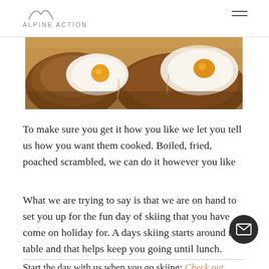ALPINE ACTION
[Figure (photo): Close-up food photo showing eggs on toast/bread, with egg whites and yolks visible]
To make sure you get it how you like we let you tell us how you want them cooked. Boiled, fried, poached scrambled, we can do it however you like
What we are trying to say is that we are on hand to set you up for the fun day of skiing that you have come on holiday for. A days skiing starts around the table and that helps keep you going until lunch.
Start the day with us when you go skiing: Check out